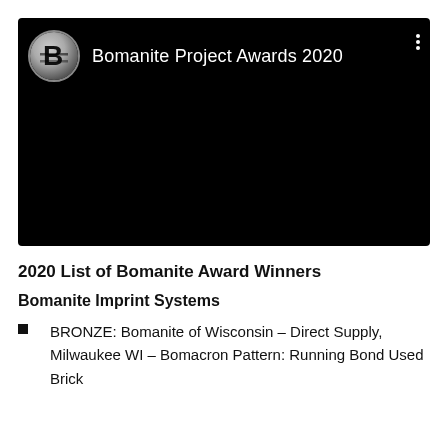[Figure (screenshot): YouTube-style video thumbnail with black background. Shows Bomanite logo (stylized B in a circle) on left, text 'Bomanite Project Awards 2020' in white, and a three-dot menu icon on the right.]
2020 List of Bomanite Award Winners
Bomanite Imprint Systems
BRONZE: Bomanite of Wisconsin – Direct Supply, Milwaukee WI – Bomacron Pattern: Running Bond Used Brick